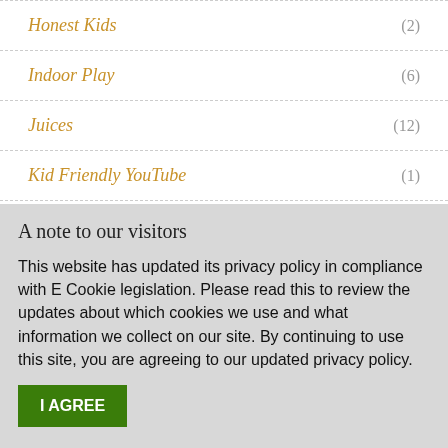Honest Kids (2)
Indoor Play (6)
Juices (12)
Kid Friendly YouTube (1)
Kid's Brain Development (1)
A note to our visitors
This website has updated its privacy policy in compliance with E Cookie legislation. Please read this to review the updates about which cookies we use and what information we collect on our site. By continuing to use this site, you are agreeing to our updated privacy policy.
I AGREE
This notice should appear only the first time you visit the site.